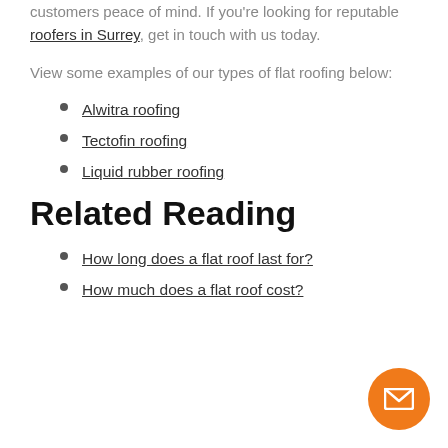warranty with any new flat roof to give our customers peace of mind. If you're looking for reputable roofers in Surrey, get in touch with us today.
View some examples of our types of flat roofing below:
Alwitra roofing
Tectofin roofing
Liquid rubber roofing
Related Reading
How long does a flat roof last for?
How much does a flat roof cost?